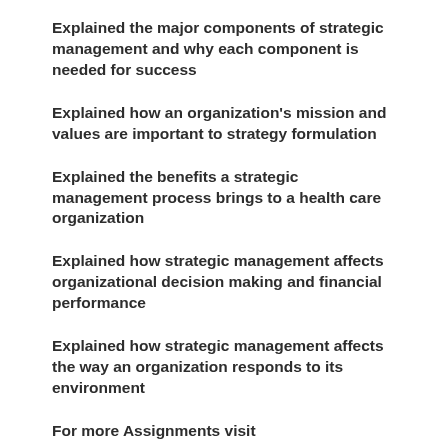Explained the major components of strategic management and why each component is needed for success
Explained how an organization's mission and values are important to strategy formulation
Explained the benefits a strategic management process brings to a health care organization
Explained how strategic management affects organizational decision making and financial performance
Explained how strategic management affects the way an organization responds to its environment
For more Assignments visit